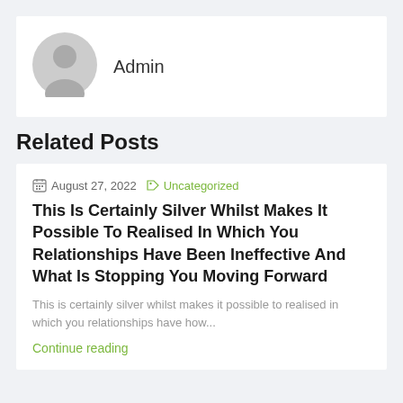[Figure (illustration): Grey circular avatar icon with a silhouette of a person]
Admin
Related Posts
August 27, 2022   Uncategorized
This Is Certainly Silver Whilst Makes It Possible To Realised In Which You Relationships Have Been Ineffective And What Is Stopping You Moving Forward
This is certainly silver whilst makes it possible to realised in which you relationships have how...
Continue reading